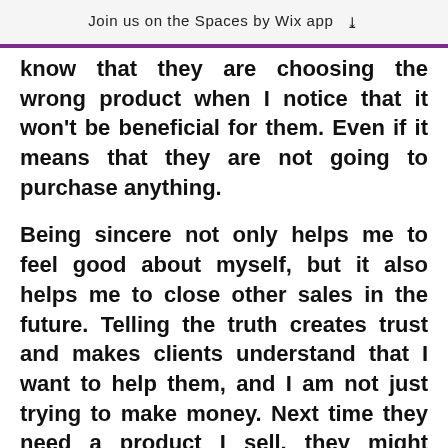Join us on the Spaces by Wix app
know that they are choosing the wrong product when I notice that it won't be beneficial for them. Even if it means that they are not going to purchase anything.
Being sincere not only helps me to feel good about myself, but it also helps me to close other sales in the future. Telling the truth creates trust and makes clients understand that I want to help them, and I am not just trying to make money. Next time they need a product I sell, they might remember that I am willing to serve them and they decide to buy them from me.